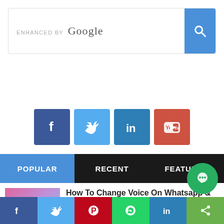[Figure (screenshot): Google enhanced search bar with blue search button]
[Figure (infographic): Social media icon buttons: Facebook (dark blue), Twitter (light blue), LinkedIn (teal), YouTube (red)]
[Figure (infographic): Tab bar with three tabs: POPULAR (blue, active), RECENT (dark), FEATURED (dark)]
How To Change Voice On Whatsapp & Call
How To Change Voice On Whatsapp & Call If you prefer to play blank on your friends and family, you can use an app to change the voice ...
Best PC Games For 8GB Ram
[Figure (infographic): Bottom social share bar with Facebook, Twitter, Pinterest, WhatsApp, LinkedIn, Share icons plus green chat bubble]